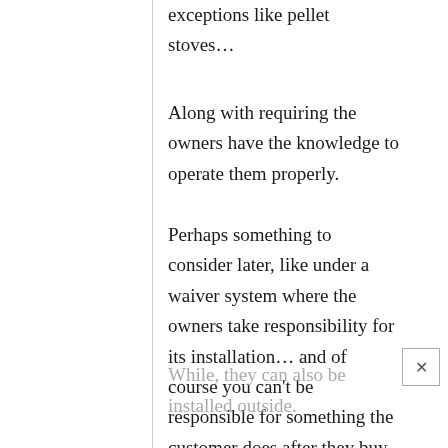exceptions like pellet stoves…
Along with requiring the owners have the knowledge to operate them properly.
Perhaps something to consider later, like under a waiver system where the owners take responsibility for its installation… and of course you can't be responsible for something the customer does after they buy the house from you, if they install one themselves without your knowledge…
While, they can also be installed outside.